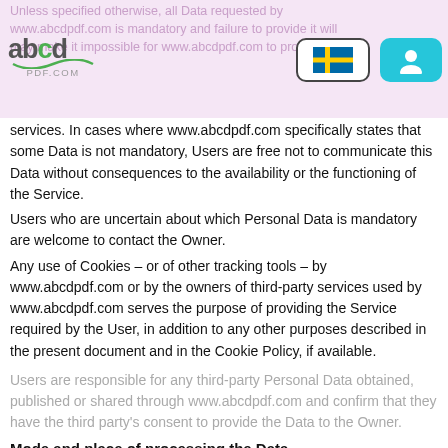Unless specified otherwise, all Data requested by www.abcdpdf.com is mandatory and failure to provide it may make it impossible for www.abcdpdf.com to provide its services.
services. In cases where www.abcdpdf.com specifically states that some Data is not mandatory, Users are free not to communicate this Data without consequences to the availability or the functioning of the Service.
Users who are uncertain about which Personal Data is mandatory are welcome to contact the Owner.
Any use of Cookies – or of other tracking tools – by www.abcdpdf.com or by the owners of third-party services used by www.abcdpdf.com serves the purpose of providing the Service required by the User, in addition to any other purposes described in the present document and in the Cookie Policy, if available.
Users are responsible for any third-party Personal Data obtained, published or shared through www.abcdpdf.com and confirm that they have the third party's consent to provide the Data to the Owner.
Mode and place of processing the Data
Methods of processing
The Owner takes appropriate security measures to prevent